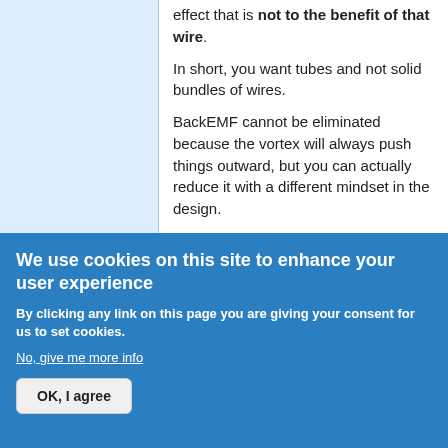effect that is not to the benefit of that wire. In short, you want tubes and not solid bundles of wires. BackEMF cannot be eliminated because the vortex will always push things outward, but you can actually reduce it with a different mindset in the design. .
Log in or register to post comments
Sat, 01/30/2016 - 14:36 (Reply to #33) #34
Re: Concepts for eBike Propulsion 2
safe
We use cookies on this site to enhance your user experience
By clicking any link on this page you are giving your consent for us to set cookies.
No, give me more info
OK, I agree